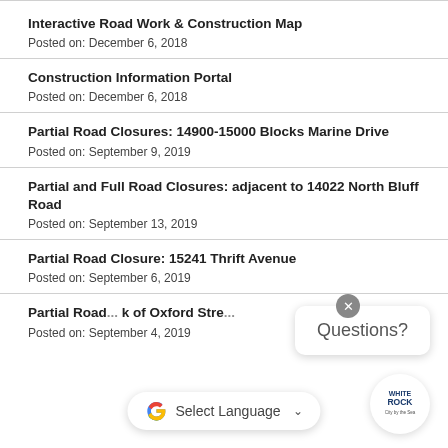Interactive Road Work & Construction Map
Posted on: December 6, 2018
Construction Information Portal
Posted on: December 6, 2018
Partial Road Closures: 14900-15000 Blocks Marine Drive
Posted on: September 9, 2019
Partial and Full Road Closures: adjacent to 14022 North Bluff Road
Posted on: September 13, 2019
Partial Road Closure: 15241 Thrift Avenue
Posted on: September 6, 2019
Partial Road ... k of Oxford Stre...
Posted on: September 4, 2019